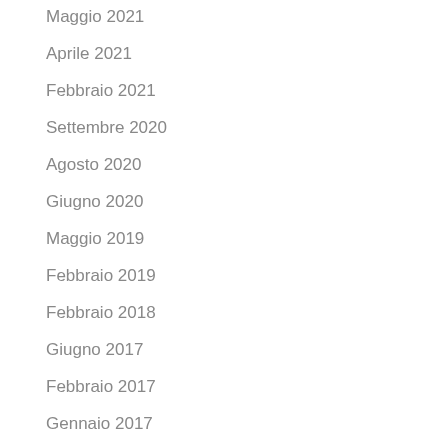Maggio 2021
Aprile 2021
Febbraio 2021
Settembre 2020
Agosto 2020
Giugno 2020
Maggio 2019
Febbraio 2019
Febbraio 2018
Giugno 2017
Febbraio 2017
Gennaio 2017
Categorie